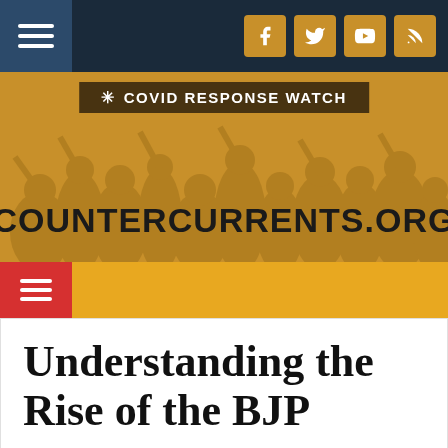countercurrents.org
[Figure (screenshot): Website header banner with COVID Response Watch badge and countercurrents.org logo on golden-brown background with crowd illustration]
Understanding the Rise of the BJP
in Book Review – by Parvin Sultana – 21/03/2020